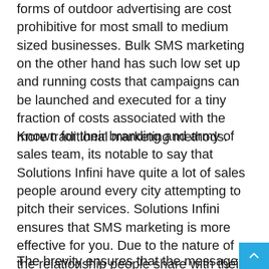forms of outdoor advertising are cost prohibitive for most small to medium sized businesses. Bulk SMS marketing on the other hand has such low set up and running costs that campaigns can be launched and executed for a tiny fraction of costs associated with the more traditional marketing methods.
Known for their branding and army of sales team, its notable to say that Solutions Infini have quite a lot of sales people around every city attempting to pitch their services. Solutions Infini ensures that SMS marketing is more effective for you. Due to the nature of the relationship people share with their phones, people can't resist checking their phones once there is a new notification.
The brevity ensures that the message is straight